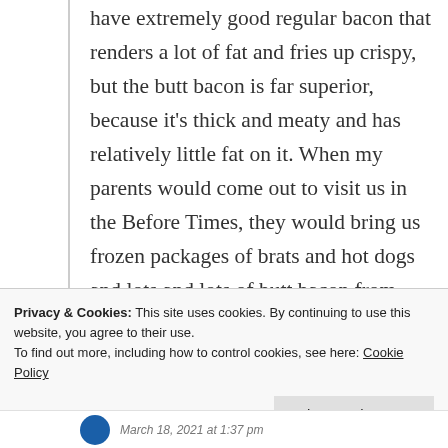have extremely good regular bacon that renders a lot of fat and fries up crispy, but the butt bacon is far superior, because it's thick and meaty and has relatively little fat on it. When my parents would come out to visit us in the Before Times, they would bring us frozen packages of brats and hot dogs and lots and lots of butt bacon from Pat's.
★ Like
↪ Reply
Privacy & Cookies: This site uses cookies. By continuing to use this website, you agree to their use.
To find out more, including how to control cookies, see here: Cookie Policy
Close and accept
March 18, 2021 at 1:37 pm